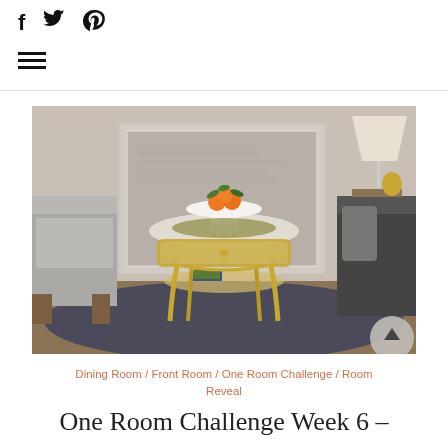f  Twitter  Pinterest  (hamburger menu)
[Figure (photo): Interior design photo showing a golden ornate side table with a glass top, holding a white pedestal bowl with oranges and a decorative tray. A grey armchair is on the left, dark sofa on the right, framed artwork in background, on a dark patterned rug.]
Dining Room / Front Room / One Room Challenge / Room Reveal
One Room Challenge Week 6 –